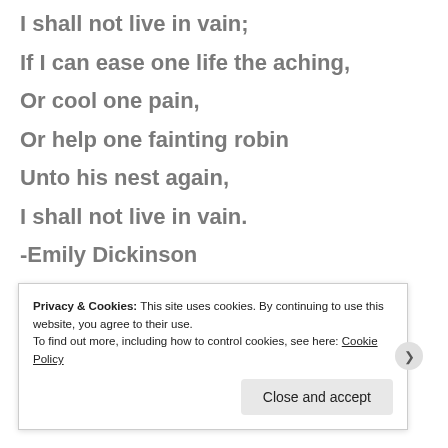I shall not live in vain;
If I can ease one life the aching,
Or cool one pain,
Or help one fainting robin
Unto his nest again,
I shall not live in vain.
-Emily Dickinson
Privacy & Cookies: This site uses cookies. By continuing to use this website, you agree to their use. To find out more, including how to control cookies, see here: Cookie Policy
Close and accept